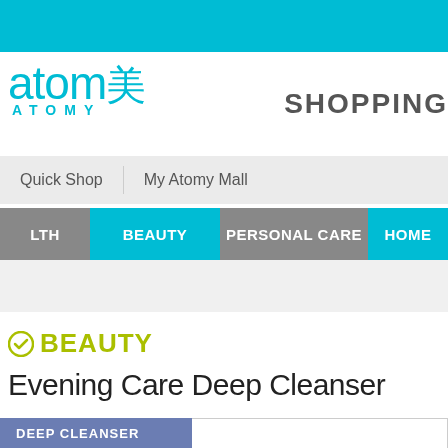[Figure (logo): Atomy logo with cyan text 'atom美 ATOMY' and 'SHOPPING' label on right]
Quick Shop    My Atomy Mall
LTH   BEAUTY   PERSONAL CARE   HOME
BEAUTY
Evening Care Deep Cleanser
DEEP CLEANSER